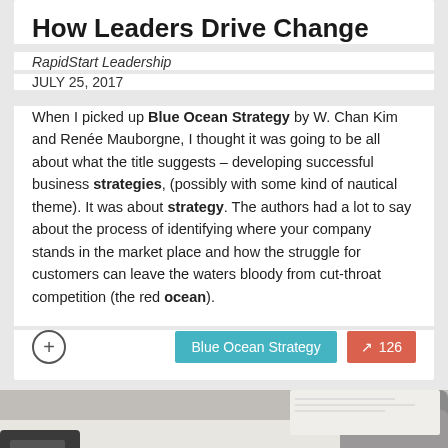How Leaders Drive Change
RapidStart Leadership
JULY 25, 2017
When I picked up Blue Ocean Strategy by W. Chan Kim and Renée Mauborgne, I thought it was going to be all about what the title suggests – developing successful business strategies, (possibly with some kind of nautical theme). It was about strategy. The authors had a lot to say about the process of identifying where your company stands in the market place and how the struggle for customers can leave the waters bloody from cut-throat competition (the red ocean).
Blue Ocean Strategy  126
[Figure (photo): Person typing on a laptop keyboard, viewed from above and to the side. The person is wearing a grey shirt and the laptop is on a white surface.]